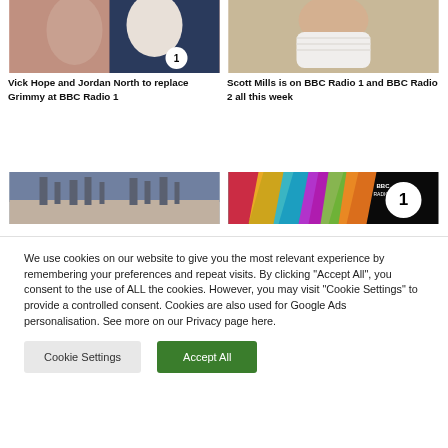[Figure (photo): Photo of two people (Vick Hope and Jordan North) posing, with a BBC Radio 1 badge visible]
[Figure (photo): Photo of a person wearing a white face mask]
Vick Hope and Jordan North to replace Grimmy at BBC Radio 1
Scott Mills is on BBC Radio 1 and BBC Radio 2 all this week
[Figure (photo): Photo of a ruined abbey or cathedral against a cloudy sky]
[Figure (logo): BBC Radio 1 logo with colorful background]
We use cookies on our website to give you the most relevant experience by remembering your preferences and repeat visits. By clicking “Accept All”, you consent to the use of ALL the cookies. However, you may visit “Cookie Settings” to provide a controlled consent. Cookies are also used for Google Ads personalisation. See more on our Privacy page here.
Cookie Settings
Accept All